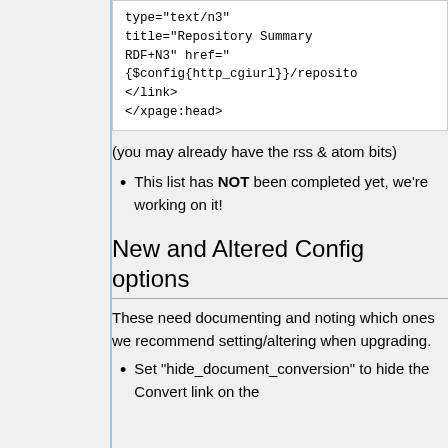type="text/n3"
    title="Repository Summary RDF+N3" href="
    {$config{http_cgiurl}}/reposito...
    </link>
    </xpage:head>
(you may already have the rss & atom bits)
This list has NOT been completed yet, we're working on it!
New and Altered Config options
These need documenting and noting which ones we recommend setting/altering when upgrading.
Set "hide_document_conversion" to hide the Convert link on the